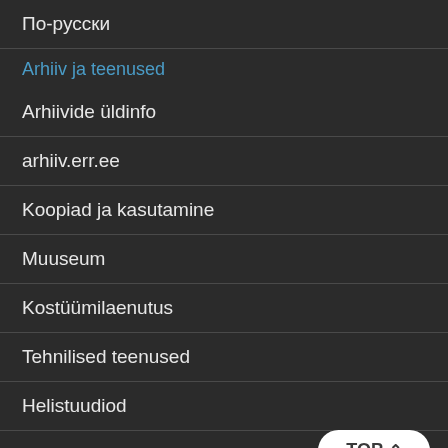По-русски
Arhiiv ja teenused
Arhiivide üldinfo
arhiiv.err.ee
Koopiad ja kasutamine
Muuseum
Kostüümilaenutus
Tehnilised teenused
Helistuudiod
Kultuuriteated
Kutse andmine